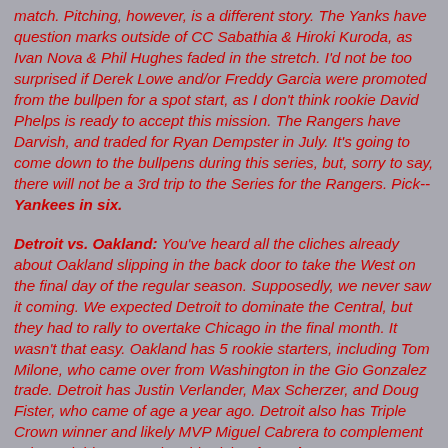match. Pitching, however, is a different story. The Yanks have question marks outside of CC Sabathia & Hiroki Kuroda, as Ivan Nova & Phil Hughes faded in the stretch. I'd not be too surprised if Derek Lowe and/or Freddy Garcia were promoted from the bullpen for a spot start, as I don't think rookie David Phelps is ready to accept this mission. The Rangers have Darvish, and traded for Ryan Dempster in July. It's going to come down to the bullpens during this series, but, sorry to say, there will not be a 3rd trip to the Series for the Rangers. Pick--Yankees in six.
Detroit vs. Oakland: You've heard all the cliches already about Oakland slipping in the back door to take the West on the final day of the regular season. Supposedly, we never saw it coming. We expected Detroit to dominate the Central, but they had to rally to overtake Chicago in the final month. It wasn't that easy. Oakland has 5 rookie starters, including Tom Milone, who came over from Washington in the Gio Gonzalez trade. Detroit has Justin Verlander, Max Scherzer, and Doug Fister, who came of age a year ago. Detroit also has Triple Crown winner and likely MVP Miguel Cabrera to complement Prince Fielder. Enough said. Pick--Tigers in